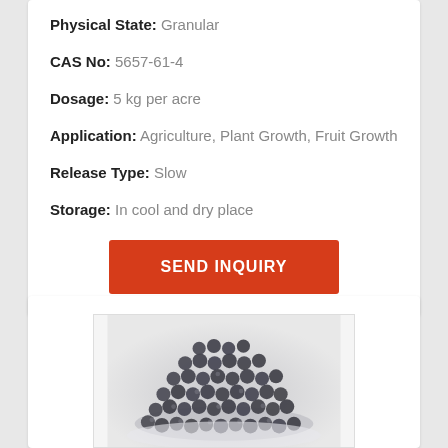Physical State: Granular
CAS No: 5657-61-4
Dosage: 5 kg per acre
Application: Agriculture, Plant Growth, Fruit Growth
Release Type: Slow
Storage: In cool and dry place
SEND INQUIRY
[Figure (photo): Close-up photo of dark gray/black granular fertilizer pellets piled in a mound on a white surface]